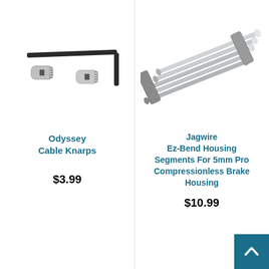[Figure (photo): Odyssey Cable Knarps product photo showing two small barrel cable anchors and an allen/hex wrench]
Odyssey
Cable Knarps
$3.99
[Figure (photo): Jagwire Ez-Bend Housing Segments For 5mm Pro Compressionless Brake Housing — several parallel metal rod segments fanned out]
Jagwire
Ez-Bend Housing
Segments For 5mm Pro
Compressionless Brake
Housing
$10.99